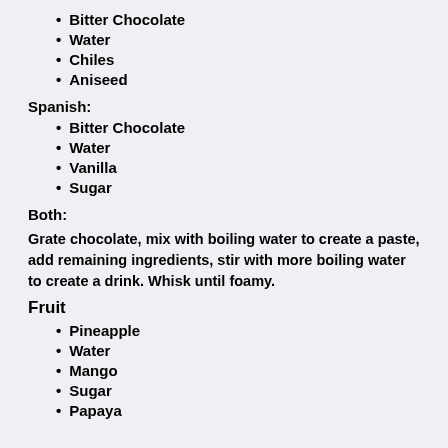Bitter Chocolate
Water
Chiles
Aniseed
Spanish:
Bitter Chocolate
Water
Vanilla
Sugar
Both:
Grate chocolate, mix with boiling water to create a paste, add remaining ingredients, stir with more boiling water to create a drink. Whisk until foamy.
Fruit
Pineapple
Water
Mango
Sugar
Papaya